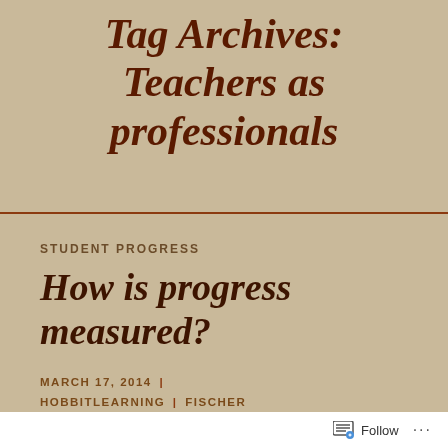Tag Archives: Teachers as professionals
STUDENT PROGRESS
How is progress measured?
MARCH 17, 2014 | HOBBITLEARNING | FISCHER FAMILY TRUST DATA, FUNDING